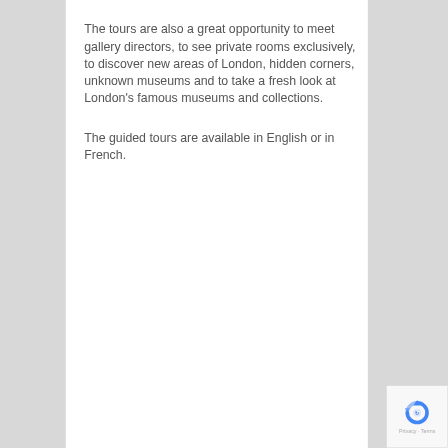The tours are also a great opportunity to meet gallery directors, to see private rooms exclusively, to discover new areas of London, hidden corners, unknown museums and to take a fresh look at London's famous museums and collections.
The guided tours are available in English or in French.
[Figure (logo): reCAPTCHA logo with Privacy and Terms footer]